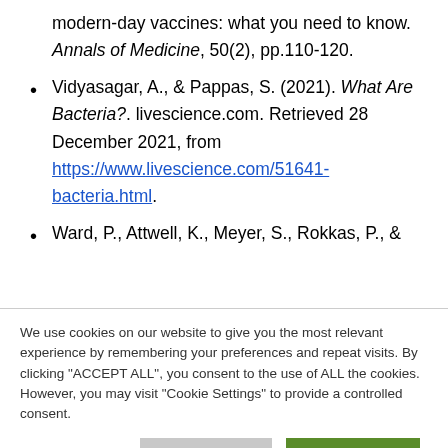modern-day vaccines: what you need to know. Annals of Medicine, 50(2), pp.110-120.
Vidyasagar, A., & Pappas, S. (2021). What Are Bacteria?. livescience.com. Retrieved 28 December 2021, from https://www.livescience.com/51641-bacteria.html.
Ward, P., Attwell, K., Meyer, S., Rokkas, P., &
We use cookies on our website to give you the most relevant experience by remembering your preferences and repeat visits. By clicking "ACCEPT ALL", you consent to the use of ALL the cookies. However, you may visit "Cookie Settings" to provide a controlled consent.
Cookie Settings | REJECT ALL | ACCEPT ALL